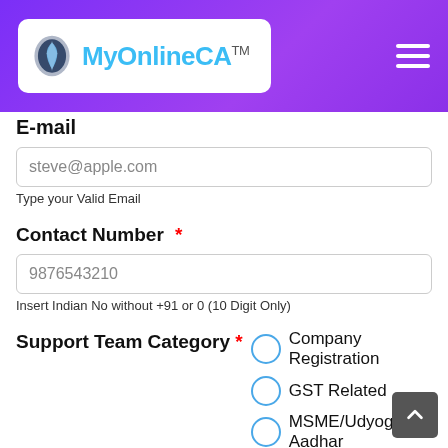[Figure (logo): MyOnlineCA logo with blue pen icon on purple header background with hamburger menu icon]
E-mail
steve@apple.com
Type your Valid Email
Contact Number *
9876543210
Insert Indian No without +91 or 0 (10 Digit Only)
Support Team Category *
Company Registration
GST Related
MSME/Udyog Aadhar
Trademark (partially visible)